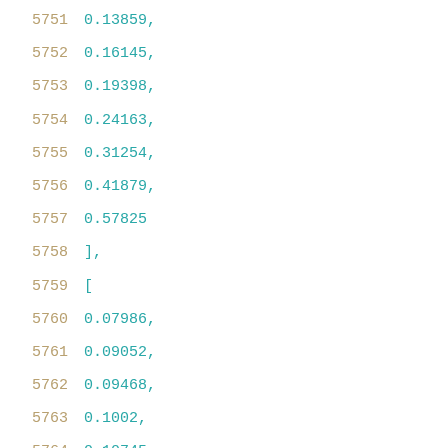5751    0.13859,
5752    0.16145,
5753    0.19398,
5754    0.24163,
5755    0.31254,
5756    0.41879,
5757    0.57825
5758    ],
5759    [
5760    0.07986,
5761    0.09052,
5762    0.09468,
5763    0.1002,
5764    0.10745,
5765    0.11686,
5766    0.12919,
5767    0.14572,
5768    0.16858,
5769    0.20112,
5770    0.24876,
5771    0.31971,